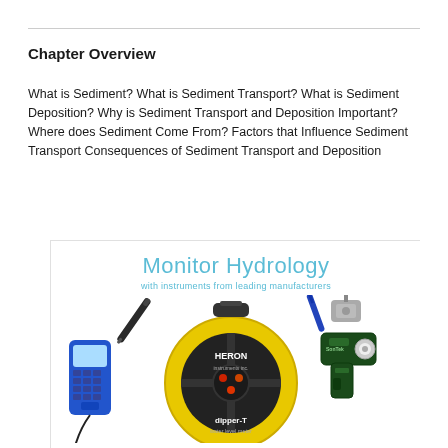Chapter Overview
What is Sediment? What is Sediment Transport? What is Sediment Deposition? Why is Sediment Transport and Deposition Important? Where does Sediment Come From? Factors that Influence Sediment Transport Consequences of Sediment Transport and Deposition
[Figure (photo): Advertisement for Monitor Hydrology with instruments from leading manufacturers, showing a HERON dipper-T water level meter (yellow reel), a blue handheld device, a flow meter/gun-style instrument, a probe, and other hydrology instruments on a white background.]